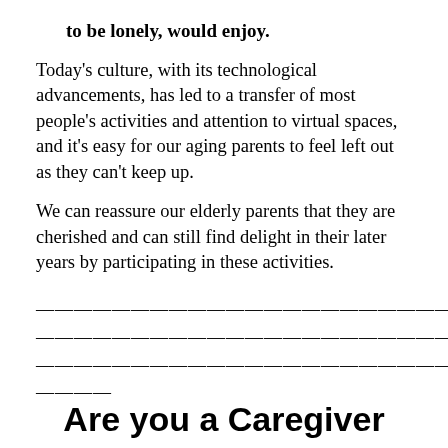to be lonely, would enjoy.
Today's culture, with its technological advancements, has led to a transfer of most people's activities and attention to virtual spaces, and it's easy for our aging parents to feel left out as they can't keep up.
We can reassure our elderly parents that they are cherished and can still find delight in their later years by participating in these activities.
————————————————————————————————————————————————————————————————————————————————————————————————————————____
Are you a Caregiver